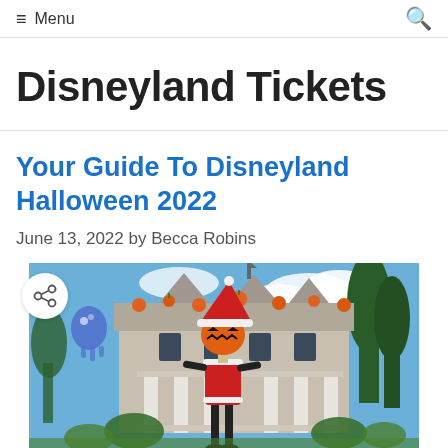≡ Menu
Disneyland Tickets
Your Guide To Disneyland Halloween 2022
June 13, 2022 by Becca Robins
[Figure (photo): Photo of the Disneyland Haunted Mansion decorated for Halloween with Jack Skellington figure in foreground wearing a Santa hat with pumpkin head, and the mansion decorated with orange pumpkins on the rooftop against a blue sky.]